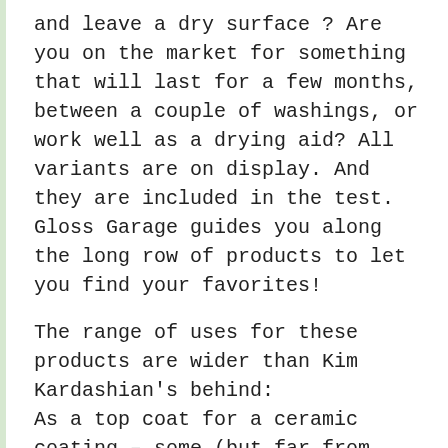and leave a dry surface ? Are you on the market for something that will last for a few months, between a couple of washings, or work well as a drying aid? All variants are on display. And they are included in the test. Gloss Garage guides you along the long row of products to let you find your favorites!
The range of uses for these products are wider than Kim Kardashian's behind: As a top coat for a ceramic coating – some (but far from all) with boring, slightly bristly / lifeless / non-hydrophobic surface. Wuppdiwupp, a round of silica spray and you have the protection you've always dreamed of. You have a ceramic coating you want to maintain, and extend life span of? No problems – Silica spray! Also, it works equally well to maintain / gloss boost / increase hydrophobicity of a synthetic sealant or wax. Not to mention completely